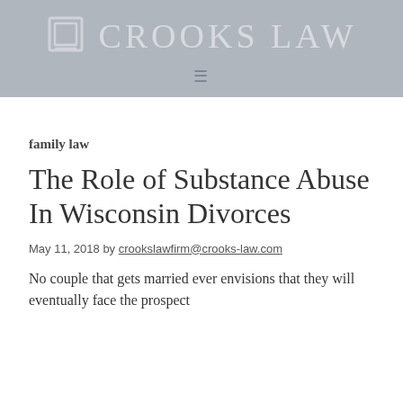CROOKS LAW
family law
The Role of Substance Abuse In Wisconsin Divorces
May 11, 2018 by crookslawfirm@crooks-law.com
No couple that gets married ever envisions that they will eventually face the prospect